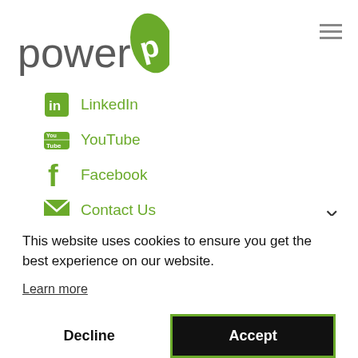[Figure (logo): Power brand logo with green leaf icon and grey 'power' text]
LinkedIn
YouTube
Facebook
Contact Us
This website uses cookies to ensure you get the best experience on our website.
Learn more
Decline
Accept